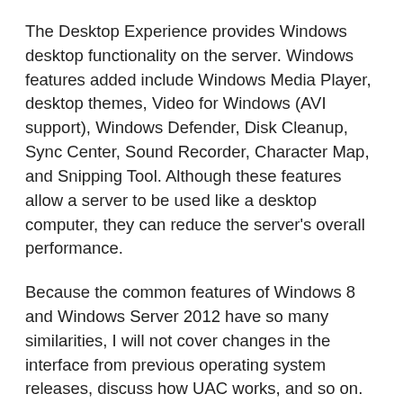The Desktop Experience provides Windows desktop functionality on the server. Windows features added include Windows Media Player, desktop themes, Video for Windows (AVI support), Windows Defender, Disk Cleanup, Sync Center, Sound Recorder, Character Map, and Snipping Tool. Although these features allow a server to be used like a desktop computer, they can reduce the server's overall performance.
Because the common features of Windows 8 and Windows Server 2012 have so many similarities, I will not cover changes in the interface from previous operating system releases, discuss how UAC works, and so on. You can find extensive coverage of these features in Windows 8 Administration Pocket Consultant (Microsoft Press, 2012), which I encourage you to use in conjunction with this book. In addition to its coverage of broad administration tasks, Windows 8 Administration Pocket Consul¬tant examines how to customize the operating system and Windows environment, configure hardware and network devices, manage user access and global settings, configure laptops